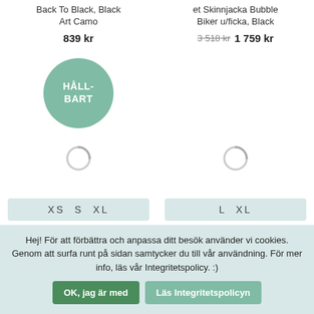Back To Black, Black Art Camo
et Skinnjacka Bubble Biker u/ficka, Black
839 kr
3 518 kr  1 759 kr
[Figure (other): Green circular sustainability badge with text HÅLLBART]
[Figure (other): Loading spinner icon left column]
[Figure (other): Loading spinner icon right column]
XS  S  XL
L  XL
Basic Apparel Jacka,
Danefae Jacka, Maude
Hej! För att förbättra och anpassa ditt besök använder vi cookies. Genom att surfa runt på sidan samtycker du till vår användning. För mer info, läs vår Integritetspolicy. :)
OK, jag är med
Läs Integritetspolicyn